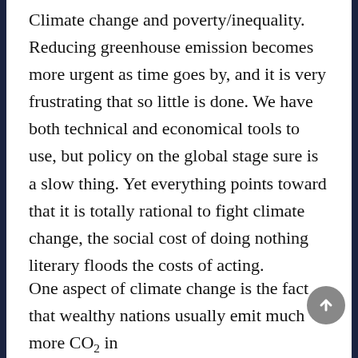Climate change and poverty/inequality. Reducing greenhouse emission becomes more urgent as time goes by, and it is very frustrating that so little is done. We have both technical and economical tools to use, but policy on the global stage sure is a slow thing. Yet everything points toward that it is totally rational to fight climate change, the social cost of doing nothing literary floods the costs of acting.
One aspect of climate change is the fact that wealthy nations usually emit much more CO2 in